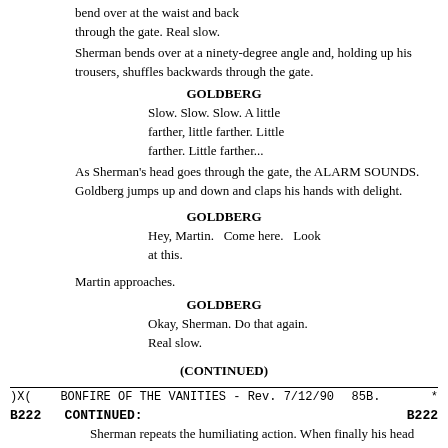bend over at the waist and back through the gate. Real slow.
Sherman bends over at a ninety-degree angle and, holding up his trousers, shuffles backwards through the gate.
GOLDBERG
Slow. Slow. Slow. A little farther, little farther. Little farther. Little farther...
As Sherman's head goes through the gate, the ALARM SOUNDS. Goldberg jumps up and down and claps his hands with delight.
GOLDBERG
Hey, Martin.   Come here.   Look at this.
Martin approaches.
GOLDBERG
Okay, Sherman. Do that again. Real slow.
(CONTINUED)
)X(    BONFIRE OF THE VANITIES - Rev. 7/12/90          85B.          *
B222   CONTINUED:                                         B222
Sherman repeats the humiliating action. When finally his head reaches the gate, the ALARM SOUNDS again.
GOLDBERG